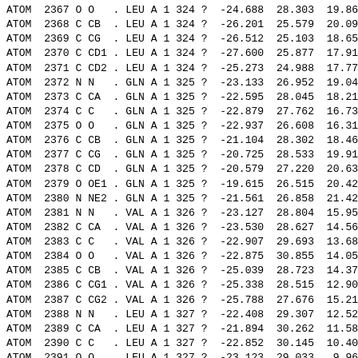| type | id | type_symbol | atom_id | alt_id | comp_id | asym_id | entity_id | seq_id | occ | x | y | z |
| --- | --- | --- | --- | --- | --- | --- | --- | --- | --- | --- | --- | --- |
| ATOM | 2367 | O | O | . | LEU | A | 1 | 324 | ? | -24.688 | 28.303 | 19.869 |
| ATOM | 2368 | C | CB | . | LEU | A | 1 | 324 | ? | -26.201 | 25.579 | 20.099 |
| ATOM | 2369 | C | CG | . | LEU | A | 1 | 324 | ? | -26.512 | 25.103 | 18.651 |
| ATOM | 2370 | C | CD1 | . | LEU | A | 1 | 324 | ? | -27.600 | 25.877 | 17.918 |
| ATOM | 2371 | C | CD2 | . | LEU | A | 1 | 324 | ? | -25.273 | 24.988 | 17.774 |
| ATOM | 2372 | N | N | . | GLN | A | 1 | 325 | ? | -23.133 | 26.952 | 19.046 |
| ATOM | 2373 | C | CA | . | GLN | A | 1 | 325 | ? | -22.595 | 28.045 | 18.215 |
| ATOM | 2374 | C | C | . | GLN | A | 1 | 325 | ? | -22.879 | 27.762 | 16.736 |
| ATOM | 2375 | O | O | . | GLN | A | 1 | 325 | ? | -22.937 | 26.608 | 16.319 |
| ATOM | 2376 | C | CB | . | GLN | A | 1 | 325 | ? | -21.104 | 28.302 | 18.465 |
| ATOM | 2377 | C | CG | . | GLN | A | 1 | 325 | ? | -20.725 | 28.533 | 19.919 |
| ATOM | 2378 | C | CD | . | GLN | A | 1 | 325 | ? | -20.579 | 27.220 | 20.630 |
| ATOM | 2379 | O | OE1 | . | GLN | A | 1 | 325 | ? | -19.615 | 26.515 | 20.423 |
| ATOM | 2380 | N | NE2 | . | GLN | A | 1 | 325 | ? | -21.561 | 26.858 | 21.426 |
| ATOM | 2381 | N | N | . | VAL | A | 1 | 326 | ? | -23.127 | 28.804 | 15.957 |
| ATOM | 2382 | C | CA | . | VAL | A | 1 | 326 | ? | -23.530 | 28.627 | 14.566 |
| ATOM | 2383 | C | C | . | VAL | A | 1 | 326 | ? | -22.907 | 29.693 | 13.685 |
| ATOM | 2384 | O | O | . | VAL | A | 1 | 326 | ? | -22.875 | 30.855 | 14.055 |
| ATOM | 2385 | C | CB | . | VAL | A | 1 | 326 | ? | -25.039 | 28.723 | 14.374 |
| ATOM | 2386 | C | CG1 | . | VAL | A | 1 | 326 | ? | -25.338 | 28.515 | 12.903 |
| ATOM | 2387 | C | CG2 | . | VAL | A | 1 | 326 | ? | -25.788 | 27.676 | 15.214 |
| ATOM | 2388 | N | N | . | LEU | A | 1 | 327 | ? | -22.408 | 29.307 | 12.524 |
| ATOM | 2389 | C | CA | . | LEU | A | 1 | 327 | ? | -21.894 | 30.262 | 11.581 |
| ATOM | 2390 | C | C | . | LEU | A | 1 | 327 | ? | -22.852 | 30.145 | 10.406 |
| ATOM | 2391 | O | O | . | LEU | A | 1 | 327 | ? | -23.123 | 29.033 | 9.964 |
| ATOM | 2392 | C | CB | . | LEU | A | 1 | 327 | ? | -20.501 | 29.814 | 11.199 |
| ATOM | 2393 | C | CG | . | LEU | A | 1 | 327 | ? | -19.866 | 30.826 | 10.283 |
| ATOM | 2394 | C | CD1 | . | LEU | A | 1 | 327 | ? | -19.920 | 32.069 | 11.077 |
| ATOM | 2395 | C | CD2 | . | LEU | A | 1 | 327 | ? | -18.399 | 30.585 | 9.987 |
| ATOM | 2396 | N | N | . | VAL | A | 1 | 328 | ? | -23.410 | 31.250 | 9.912 |